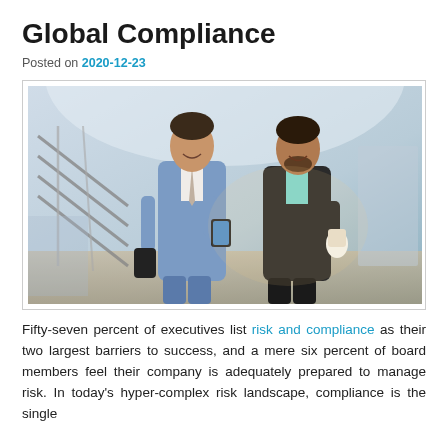Global Compliance
Posted on 2020-12-23
[Figure (photo): Two businessmen in suits standing together, one looking at a smartphone while the other holds a coffee cup, in a modern building with metal railings in the background.]
Fifty-seven percent of executives list risk and compliance as their two largest barriers to success, and a mere six percent of board members feel their company is adequately prepared to manage risk. In today's hyper-complex risk landscape, compliance is the single